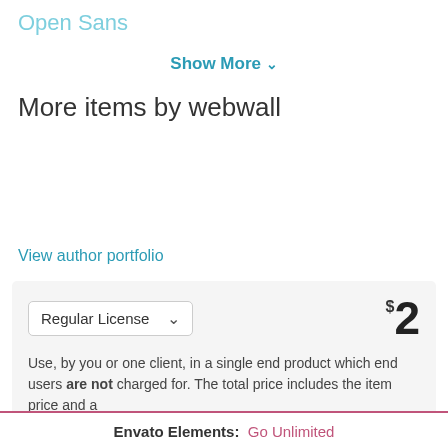Open Sans
Show More ▾
More items by webwall
View author portfolio
Regular License  $2
Use, by you or one client, in a single end product which end users are not charged for. The total price includes the item price and a
Envato Elements: Go Unlimited